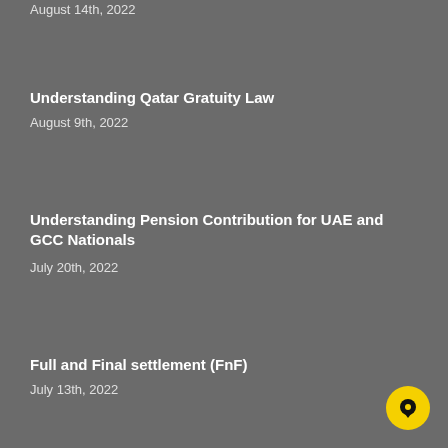August 14th, 2022
Understanding Qatar Gratuity Law
August 9th, 2022
Understanding Pension Contribution for UAE and GCC Nationals
July 20th, 2022
Full and Final settlement (FnF)
July 13th, 2022